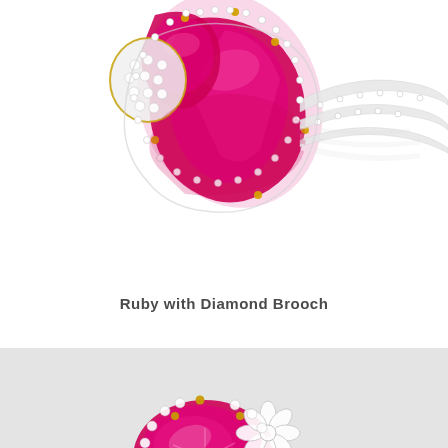[Figure (photo): Ruby with Diamond Brooch jewelry piece on white background — large faceted ruby gemstones set in gold and diamond-encrusted white gold mounting, with a reflection visible below the piece]
Ruby with Diamond Brooch
[Figure (photo): Second jewelry piece showing a ruby gemstone with diamond floral cluster setting on a light gray background, partially visible]